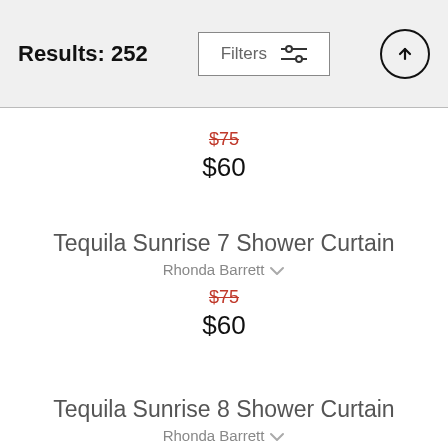Results: 252
Filters
$75 $60
Tequila Sunrise 7 Shower Curtain
Rhonda Barrett
$75 $60
Tequila Sunrise 8 Shower Curtain
Rhonda Barrett
$75